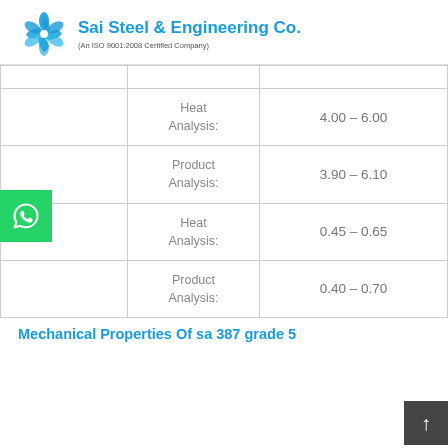[Figure (logo): Sai Steel & Engineering Co. logo with pinwheel graphic in blue]
|  | Analysis Type | Value Range |
| --- | --- | --- |
|  | Heat Analysis: | 4.00 – 6.00 |
|  | Product Analysis: | 3.90 – 6.10 |
|  | Heat Analysis: | 0.45 – 0.65 |
|  | Product Analysis: | 0.40 – 0.70 |
Mechanical Properties Of sa 387 grade 5